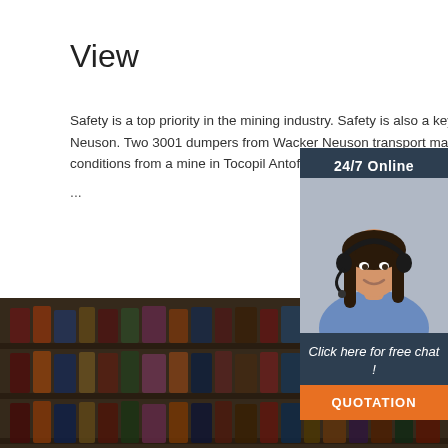View
Safety is a top priority in the mining industry. Safety is also a key factor at Wacker Neuson. Two 3001 dumpers from Wacker Neuson transport material under the harshest conditions from a mine in Tocopilla, Antofagasta region in northern Chile, thereby m...
...
[Figure (infographic): 24/7 online chat widget with a woman wearing a headset, dark blue background, orange QUOTATION button and 'Click here for free chat!' text]
[Figure (photo): Blurred background photo of store shelves with products/bottles in warm tones]